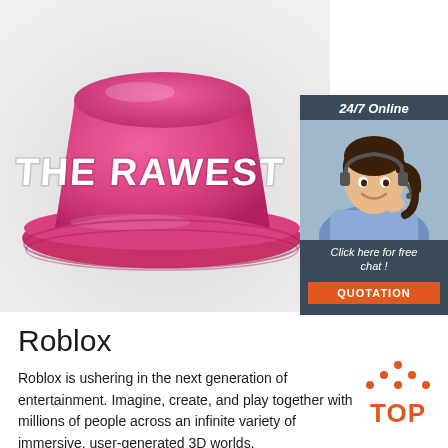[Figure (photo): Pink bucket hat with 'THE RAWEST' written in white graffiti-style text, on a grey/white background]
[Figure (photo): Ad box: '24/7 Online' header, woman with headset smiling, 'Click here for free chat!' text, orange 'QUOTATION' button]
Roblox
[Figure (logo): Orange 'TOP' logo with dot pattern above the letters forming a triangle/arrow shape]
Roblox is ushering in the next generation of entertainment. Imagine, create, and play together with millions of people across an infinite variety of immersive, user-generated 3D worlds.